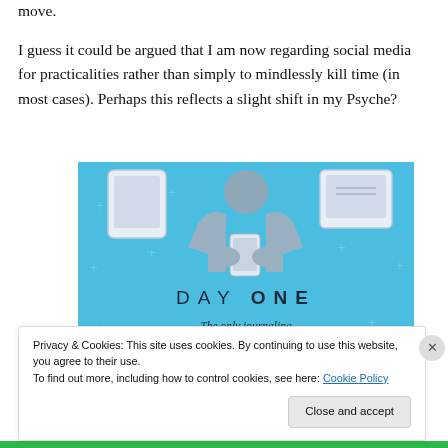move.
I guess it could be argued that I am now regarding social media for practicalities rather than simply to mindlessly kill time (in most cases). Perhaps this reflects a slight shift in my Psyche?
[Figure (illustration): Day One journaling app advertisement on a light blue background with small plus signs as decorations. Shows a person holding a smartphone with two devices (phone and tablet) in the upper corners. Text reads 'DAY ONE' and 'The only journaling app you'll ever need.']
Privacy & Cookies: This site uses cookies. By continuing to use this website, you agree to their use.
To find out more, including how to control cookies, see here: Cookie Policy
Close and accept